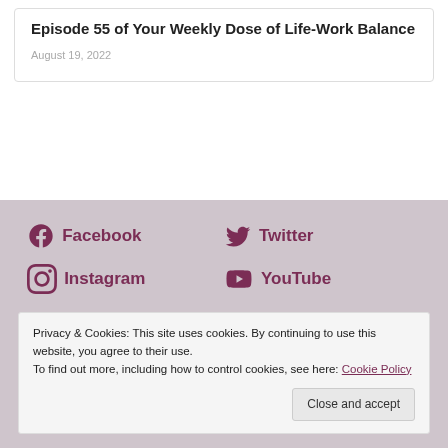Episode 55 of Your Weekly Dose of Life-Work Balance
August 19, 2022
[Figure (infographic): Social media links: Facebook, Twitter, Instagram, YouTube icons with labels in dark purple on a mauve/dusty rose background]
Privacy & Cookies: This site uses cookies. By continuing to use this website, you agree to their use.
To find out more, including how to control cookies, see here: Cookie Policy
Close and accept